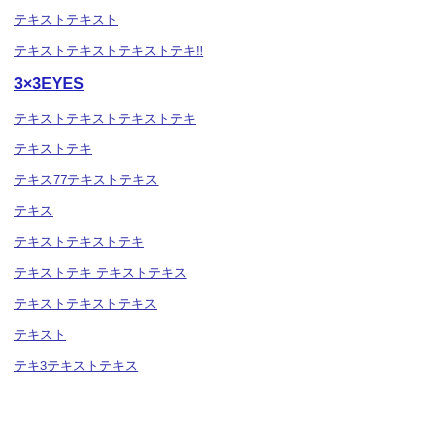（日本語テキスト）
（日本語テキスト）!!
3×3EYES
（日本語テキスト）
（日本語テキスト）
（日本語）77（日本語テキスト）
（日本語）
（日本語テキスト）
（日本語テキスト） （日本語テキスト）
（日本語テキスト）
（日本語）
（日本語）3（日本語テキスト）